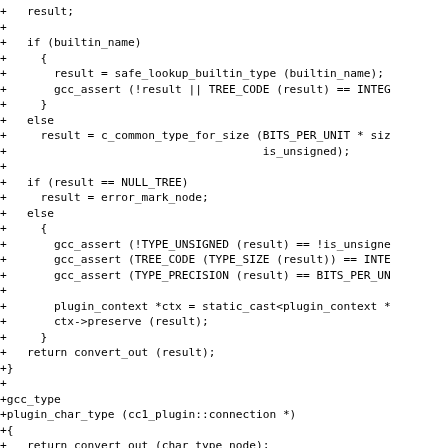Diff code snippet showing additions to a C/C++ source file involving builtin type lookup, error handling, gcc_assert calls, plugin_context, and plugin_char_type function.